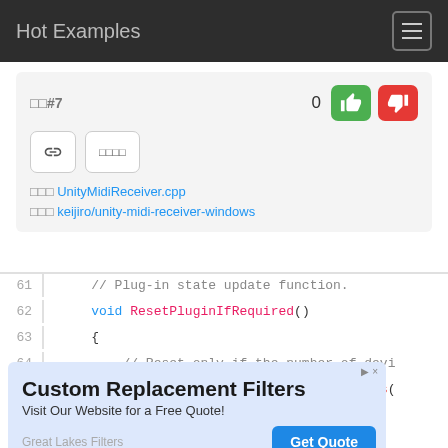Hot Examples
□□#7
0
□□□□
□□□ UnityMidiReceiver.cpp
□□□ keijiro/unity-midi-receiver-windows
61   // Plug-in state update function.
62   void ResetPluginIfRequired()
63   {
64       // Reset only if the number of devi
65       int deviceCount = midiInGetNumDevs(
[Figure (screenshot): Advertisement banner: Custom Replacement Filters, Visit Our Website for a Free Quote!, Great Lakes Filters, Get Quote button]